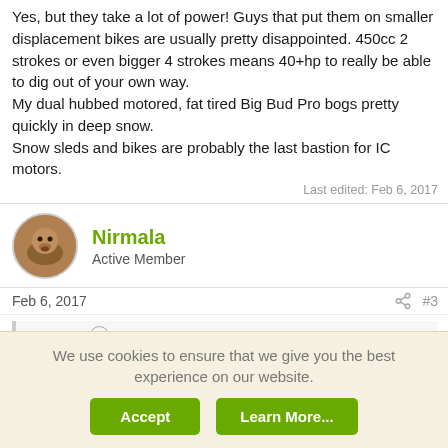Yes, but they take a lot of power! Guys that put them on smaller displacement bikes are usually pretty disappointed. 450cc 2 strokes or even bigger 4 strokes means 40+hp to really be able to dig out of your own way.
My dual hubbed motored, fat tired Big Bud Pro bogs pretty quickly in deep snow.
Snow sleds and bikes are probably the last bastion for IC motors.
Last edited: Feb 6, 2017
Nirmala
Active Member
Feb 6, 2017
#3
MLB said:
Yes, but they take a lot of power! Guys that put them on smaller displacement bikes are usually pretty disappointed. 450cc 2 strokes or
We use cookies to ensure that we give you the best experience on our website.
Accept   Learn More...